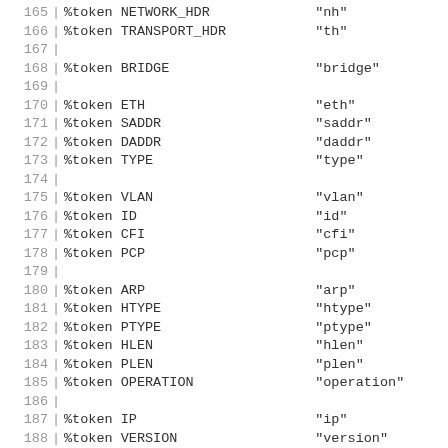165  %token NETWORK_HDR    "nh"
166  %token TRANSPORT_HDR  "th"
167
168  %token BRIDGE         "bridge"
169
170  %token ETH            "eth"
171  %token SADDR          "saddr"
172  %token DADDR          "daddr"
173  %token TYPE           "type"
174
175  %token VLAN           "vlan"
176  %token ID             "id"
177  %token CFI            "cfi"
178  %token PCP            "pcp"
179
180  %token ARP            "arp"
181  %token HTYPE          "htype"
182  %token PTYPE          "ptype"
183  %token HLEN           "hlen"
184  %token PLEN           "plen"
185  %token OPERATION      "operation"
186
187  %token IP             "ip"
188  %token VERSION        "version"
189  %token HDRLENGTH      "hdrlength"
190  %token TOS            "tos"
191  %token LENGTH         "length"
192  %token FRAG_OFF       "frag-off"
193  %token TTL            "ttl"
194  %token PROTOCOL       "protocol"